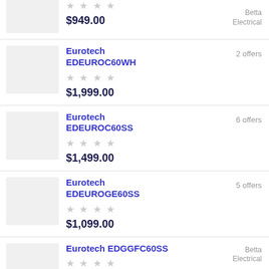$949.00 — Betta Electrical
Eurotech EDEUROC60WH — 2 offers — $1,999.00
Eurotech EDEUROC60SS — 6 offers — $1,499.00
Eurotech EDEUROGE60SS — 5 offers — $1,099.00
Eurotech EDGGFC60SS — Betta Electrical